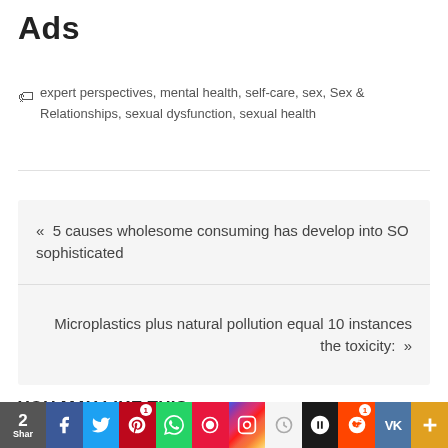Ads
expert perspectives, mental health, self-care, sex, Sex & Relationships, sexual dysfunction, sexual health
« 5 causes wholesome consuming has develop into SO sophisticated
Microplastics plus natural pollution equal 10 instances the toxicity: »
YOU MAY LIKE THIS --
2 Shar | f | tw | p | whatsapp | bf | ig | pen | sv | 1 rd | VK | +